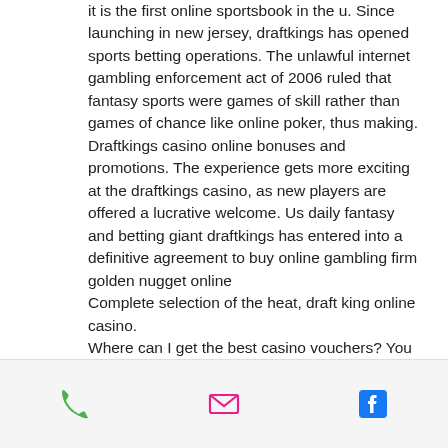it is the first online sportsbook in the u. Since launching in new jersey, draftkings has opened sports betting operations. The unlawful internet gambling enforcement act of 2006 ruled that fantasy sports were games of skill rather than games of chance like online poker, thus making. Draftkings casino online bonuses and promotions. The experience gets more exciting at the draftkings casino, as new players are offered a lucrative welcome. Us daily fantasy and betting giant draftkings has entered into a definitive agreement to buy online gambling firm golden nugget online
Complete selection of the heat, draft king online casino.
Where can I get the best casino vouchers? You can get the same terms at Unibet too when you use one of our Unibet casino bonus codes, while Bitstarz offer a 100%
Phone | Email | Facebook